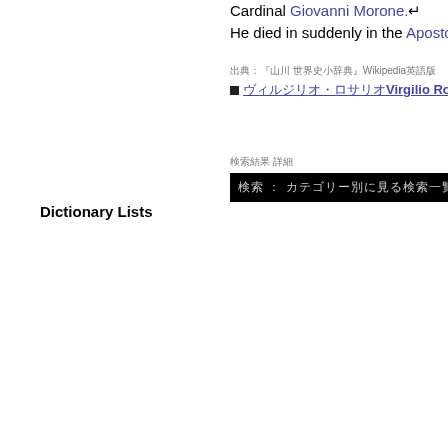Cardinal Giovanni Morone.  He died in suddenly in the Apostolic P
出典：『山川 世界史小辞典』Wikipedia英語版
■ ヴィルジリオ・ロサリオVirgio Rosarioの検索結果
検索結果 詳細
検索 ： カテゴリー別に見る検索一覧
Dictionary Lists